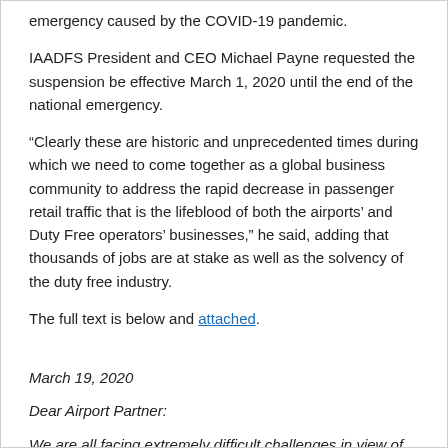emergency caused by the COVID-19 pandemic.
IAADFS President and CEO Michael Payne requested the suspension be effective March 1, 2020 until the end of the national emergency.
“Clearly these are historic and unprecedented times during which we need to come together as a global business community to address the rapid decrease in passenger retail traffic that is the lifeblood of both the airports’ and Duty Free operators’ businesses,” he said, adding that thousands of jobs are at stake as well as the solvency of the duty free industry.
The full text is below and attached.
March 19, 2020
Dear Airport Partner:
We are all facing extremely difficult challenges in view of the rapidly spreading COVID-19 pandemic confronting our world and every sector of our national economy. As you well know, few businesses are more affected than the airports and their partner organizations